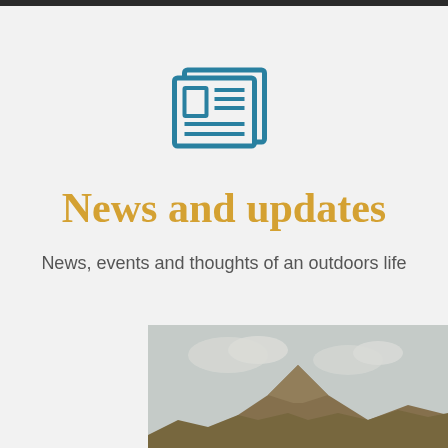[Figure (illustration): Newspaper/news icon in teal/blue outline style — a folded newspaper with columns represented by horizontal lines]
News and updates
News, events and thoughts of an outdoors life
[Figure (photo): Photograph of a mountain peak with a cloudy sky, muted vintage color tones]